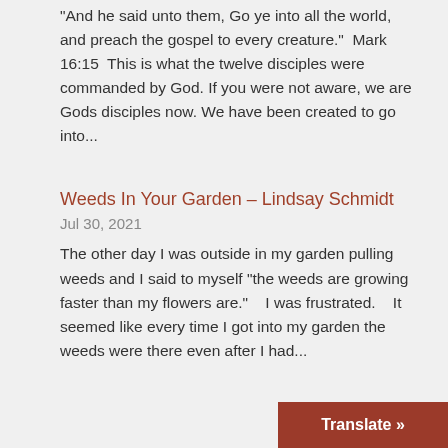“And he said unto them, Go ye into all the world, and preach the gospel to every creature.”  Mark 16:15  This is what the twelve disciples were commanded by God. If you were not aware, we are Gods disciples now. We have been created to go into...
Weeds In Your Garden – Lindsay Schmidt
Jul 30, 2021
The other day I was outside in my garden pulling weeds and I said to myself “the weeds are growing faster than my flowers are.”    I was frustrated.    It seemed like every time I got into my garden the weeds were there even after I had...
Translate »